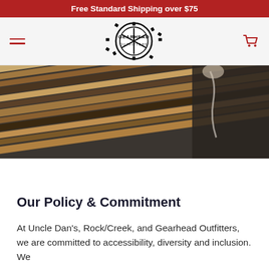Free Standard Shipping over $75
[Figure (logo): Gearhead Outfitters gear/cog logo with hamburger menu and cart icon navigation bar]
[Figure (photo): Close-up photo of wooden skateboard deck planks with a hand visible in the corner against dark background]
Our Policy & Commitment
At Uncle Dan's, Rock/Creek, and Gearhead Outfitters, we are committed to accessibility, diversity and inclusion. We